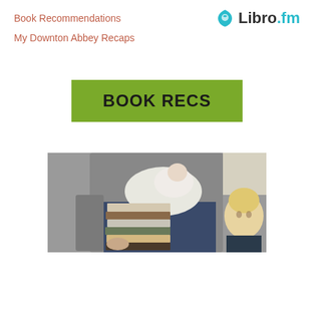Book Recommendations
My Downton Abbey Recaps
[Figure (logo): Libro.fm logo with teal shield icon and bold text]
[Figure (illustration): Green banner with text BOOK recs in bold dark letters]
[Figure (photo): Person sitting in a gray chair holding a stack of books and a baby, with a young blond child visible on the right]